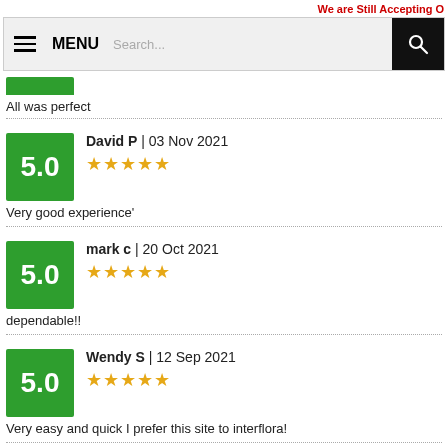We are Still Accepting O
[Figure (screenshot): Navigation bar with hamburger menu icon, MENU label, search input field, and black search button with magnifying glass icon]
All was perfect
David P | 03 Nov 2021  ★★★★★  5.0
Very good experience'
mark c | 20 Oct 2021  ★★★★★  5.0
dependable!!
Wendy S | 12 Sep 2021  ★★★★★  5.0
Very easy and quick I prefer this site to interflora!
Donna M | 10 Jul 2021